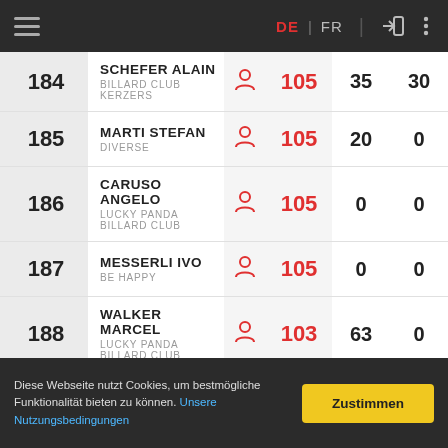DE | FR — navigation bar
| Rank | Name / Club |  | Pts | Score1 | Score2 |
| --- | --- | --- | --- | --- | --- |
| 184 | SCHEFER ALAIN
BILLARD CLUB KERZERS |  | 105 | 35 | 30 |
| 185 | MARTI STEFAN
DIVERSE |  | 105 | 20 | 0 |
| 186 | CARUSO ANGELO
LUCKY PANDA BILLARD CLUB |  | 105 | 0 | 0 |
| 187 | MESSERLI IVO
BE HAPPY |  | 105 | 0 | 0 |
| 188 | WALKER MARCEL
LUCKY PANDA BILLARD CLUB |  | 103 | 63 | 0 |
|  | GRAF MATTHIAS |  |  |  |  |
Diese Webseite nutzt Cookies, um bestmögliche Funktionalität bieten zu können. Unsere Nutzungsbedingungen
Zustimmen